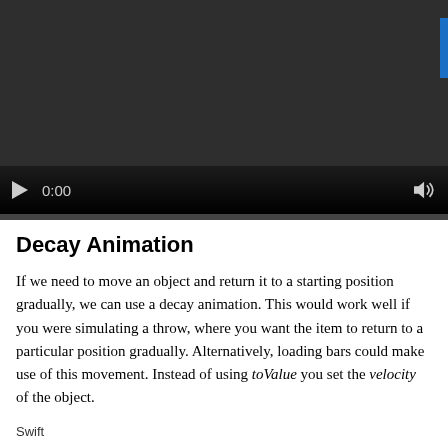[Figure (screenshot): Video player with dark background showing playback controls: play button, time display '0:00', and volume icon. A blue accent bar is visible at the top right. A progress bar is shown at the bottom of the player.]
Decay Animation
If we need to move an object and return it to a starting position gradually, we can use a decay animation. This would work well if you were simulating a throw, where you want the item to return to a particular position gradually. Alternatively, loading bars could make use of this movement. Instead of using toValue you set the velocity of the object.
Swift